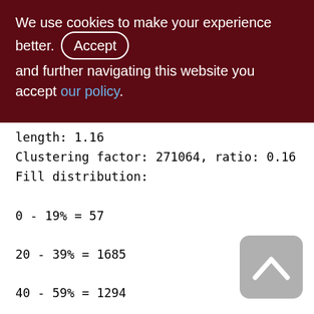We use cookies to make your experience better. By accepting and further navigating this website you accept our policy.
length: 1.16
Clustering factor: 271064, ratio: 0.16
Fill distribution:
0 - 19% = 57
20 - 39% = 1685
40 - 59% = 1294
60 - 79% = 185
80 - 99% = 38
Index XQS_1000_3300_SND_ID (1)
Root page: 65477, depth: 3, leaf buckets: 1988, nodes: 1694488
Average node length: 5.77, total dup: